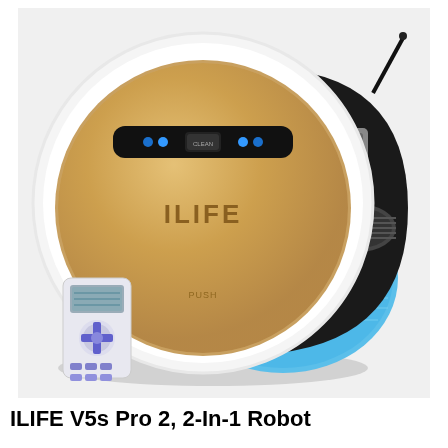[Figure (photo): ILIFE V5s Pro 2 robot vacuum and mop combo shown from a top-down angle. The robot is circular with a gold/champagne colored top panel, white outer ring, and black control panel strip with blue LED dots and a CLEAN button. The right side shows the underside with black chassis, a side brush, roller brush, and a large blue microfiber mop pad attached. A small white remote control with blue buttons is visible in the lower left corner of the image. The background is light gray.]
ILIFE V5s Pro 2, 2-In-1 Robot